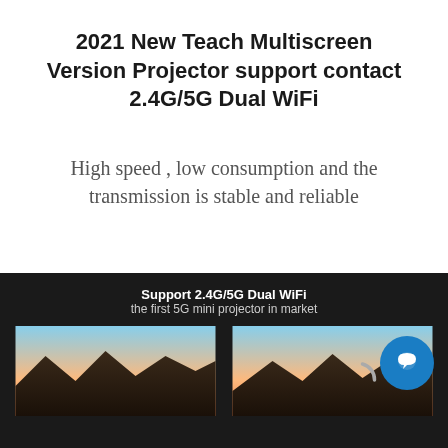2021 New Teach Multiscreen Version Projector support contact 2.4G/5G Dual WiFi
High speed , low consumption and the transmission is stable and reliable
[Figure (photo): Dark background product image showing 'Support 2.4G/5G Dual WiFi, the first 5G mini projector in market' with two side-by-side panels showing sunset/landscape scenes and a loading spinner icon on the right panel. A blue chat bubble icon is visible in the bottom right corner.]